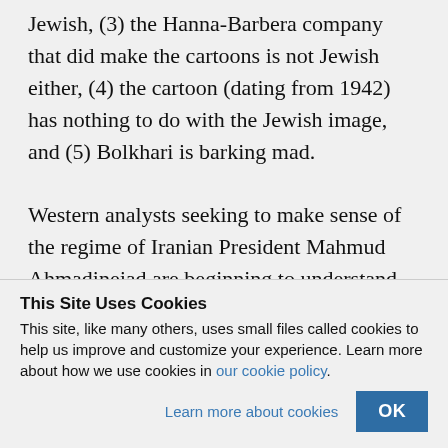Jewish, (3) the Hanna-Barbera company that did make the cartoons is not Jewish either, (4) the cartoon (dating from 1942) has nothing to do with the Jewish image, and (5) Bolkhari is barking mad.

Western analysts seeking to make sense of the regime of Iranian President Mahmud Ahmadinejad are beginning to understand that the other side looks at the world in a
This Site Uses Cookies
This site, like many others, uses small files called cookies to help us improve and customize your experience. Learn more about how we use cookies in our cookie policy.
Learn more about cookies   OK